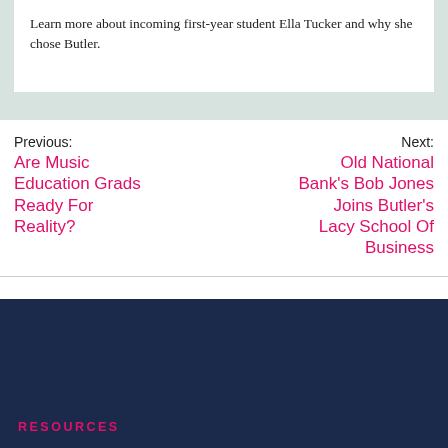Learn more about incoming first-year student Ella Tucker and why she chose Butler.
Previous: Are Music Education Grads Ready For Reality?
Next: Old National Bank's Bob Jones Joins Butler's Lacy School Of Business
RESOURCES